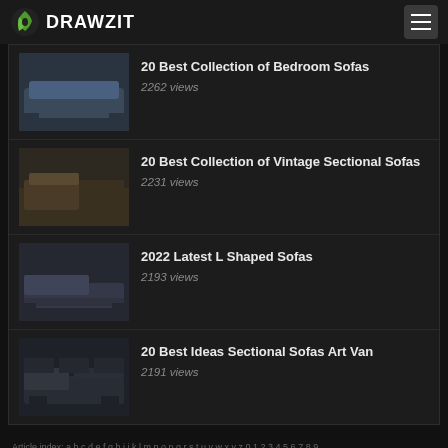DRAWZIT
20 Best Collection of Bedroom Sofas
2262 views
20 Best Collection of Vintage Sectional Sofas
2231 views
2022 Latest L Shaped Sofas
2193 views
20 Best Ideas Sectional Sofas Art Van
2191 views
Article index: a b c d e f g h i j k l m n o p q r s t u v w x y z 0 1 2 3 4 5 6 7 8 9
Image index: a b c d e f g h i j k l m n o p q r s t u v w x y z 0 1 2 3 4 5 6 7 8 9